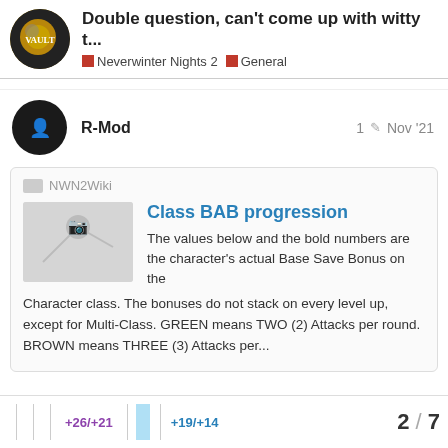Double question, can't come up with witty t... | Neverwinter Nights 2 | General
R-Mod  1  Nov '21
NWN2Wiki
Class BAB progression
The values below and the bold numbers are the character's actual Base Save Bonus on the Character class. The bonuses do not stack on every level up, except for Multi-Class. GREEN means TWO (2) Attacks per round. BROWN means THREE (3) Attacks per...
+26/+21  +19/+14   2 / 7